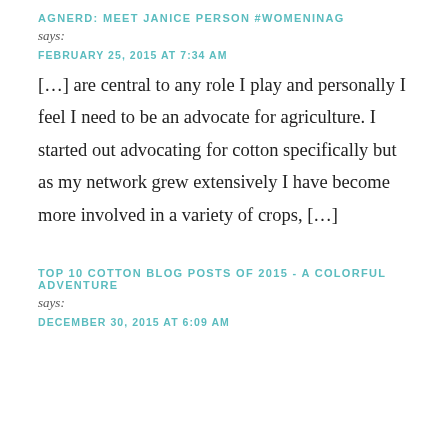AGNERD: MEET JANICE PERSON #WOMENINAG
says:
FEBRUARY 25, 2015 AT 7:34 AM
[…] are central to any role I play and personally I feel I need to be an advocate for agriculture. I started out advocating for cotton specifically but as my network grew extensively I have become more involved in a variety of crops, […]
TOP 10 COTTON BLOG POSTS OF 2015 - A COLORFUL ADVENTURE
says:
DECEMBER 30, 2015 AT 6:09 AM